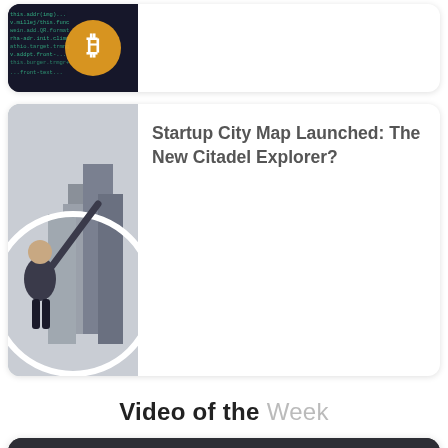[Figure (screenshot): Top card thumbnail: dark image with code overlay and orange Bitcoin-like logo icon]
[Figure (photo): Second card thumbnail: man pointing at city buildings, circular crop]
Startup City Map Launched: The New Citadel Explorer?
Video of the Week
[Figure (screenshot): Video card: Documentary: 48 HOURS in Amsterd... with Bitcoin logo and presenter thumbnail, YouTube-style video card]